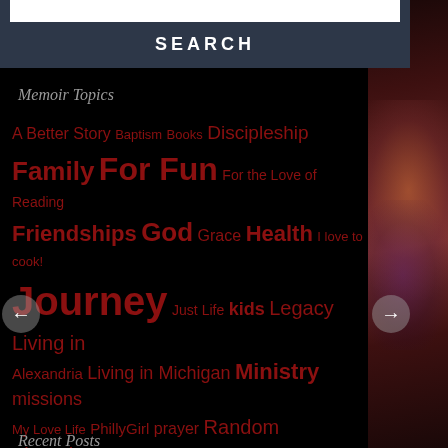[Figure (screenshot): Website screenshot showing a search bar at the top with a dark blue-gray background and 'SEARCH' button, a tag cloud section titled 'Memoir Topics' with various tags in red at different sizes on a dark background, navigation arrows, and a partially visible decorative photo on the right side. A 'Recent Posts' header is partially visible at the bottom.]
SEARCH
Memoir Topics
A Better Story  Baptism  Books  Discipleship  Family  For Fun  For the Love of Reading  Friendships  God  Grace  Health  I love to cook!  Journey  Just Life  kids  Legacy  Living in Alexandria  Living in Michigan  Ministry  missions  My Love Life  PhillyGirl  prayer  Random Thoughts in My Head  relationships  Roommates  Skippy  teaching  Uncategorized  Writing
Recent Posts